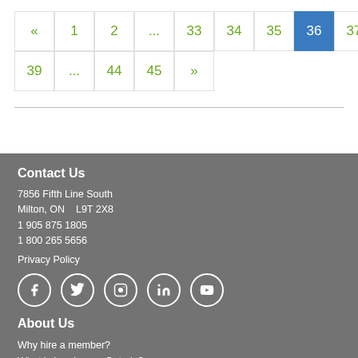[Figure (other): Pagination navigation showing pages: « 1 2 ... 33 34 35 36(active) 37 38 39 ... 44 45 »]
Contact Us
7856 Fifth Line South
Milton, ON   L9T 2X8
1 905 875 1805
1 800 265 5656
Privacy Policy
[Figure (other): Social media icons: Facebook, Twitter, Instagram, LinkedIn, YouTube]
About Us
Why hire a member?
What is Landscape Ontario?